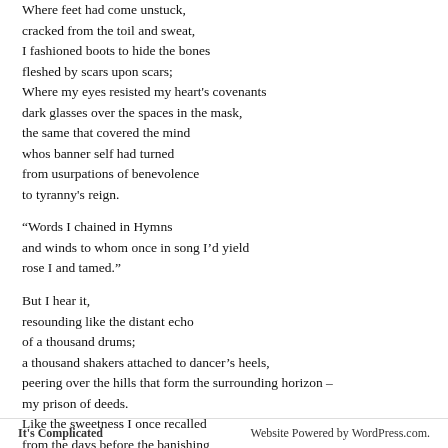Where feet had come unstuck,
cracked from the toil and sweat,
I fashioned boots to hide the bones
fleshed by scars upon scars;
Where my eyes resisted my heart's covenants
dark glasses over the spaces in the mask,
the same that covered the mind
whos banner self had turned
from usurpations of benevolence
to tyranny's reign.

“Words I chained in Hymns
and winds to whom once in song I’d yield
rose I and tamed.”

But I hear it,
resounding like the distant echo
of a thousand drums;
a thousand shakers attached to dancer’s heels,
peering over the hills that form the surrounding horizon –
my prison of deeds.
Like the sweetness I once recalled
from the days before the banishing,
before the knowing that couldn’t be unknown;
before the seeing that couldn’t be unseen;
It's Complicated    Website Powered by WordPress.com.